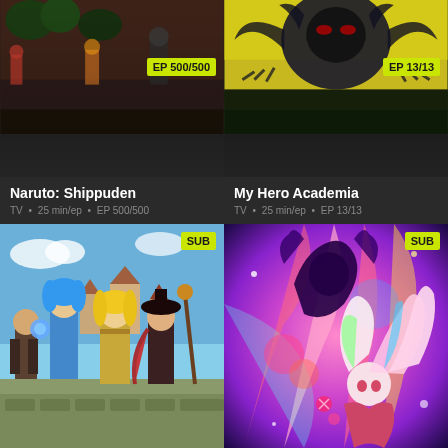[Figure (screenshot): Anime streaming app grid showing 4 anime titles: Naruto Shippuden (EP 500/500), My Hero Academia (EP 13/13), Konosuba (SUB), No Game No Life (SUB)]
EP 500/500
Naruto: Shippuden
TV • 25 min/ep • EP 500/500
EP 13/13
My Hero Academia
TV • 25 min/ep • EP 13/13
SUB
SUB